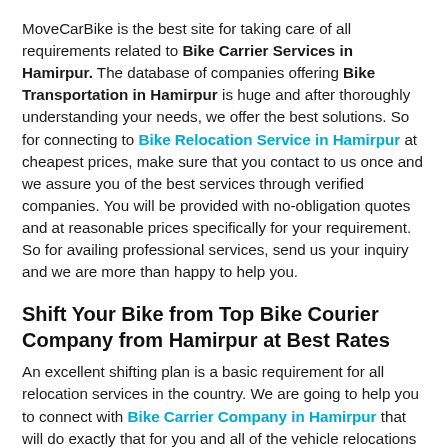MoveCarBike is the best site for taking care of all requirements related to Bike Carrier Services in Hamirpur. The database of companies offering Bike Transportation in Hamirpur is huge and after thoroughly understanding your needs, we offer the best solutions. So for connecting to Bike Relocation Service in Hamirpur at cheapest prices, make sure that you contact to us once and we assure you of the best services through verified companies. You will be provided with no-obligation quotes and at reasonable prices specifically for your requirement. So for availing professional services, send us your inquiry and we are more than happy to help you.
Shift Your Bike from Top Bike Courier Company from Hamirpur at Best Rates
An excellent shifting plan is a basic requirement for all relocation services in the country. We are going to help you to connect with Bike Carrier Company in Hamirpur that will do exactly that for you and all of the vehicle relocations will be done with utmost care. We partner only with companies offering top Bike Shifting Service in